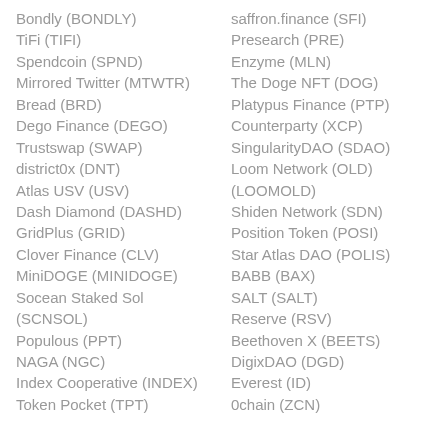Bondly (BONDLY)
TiFi (TIFI)
Spendcoin (SPND)
Mirrored Twitter (MTWTR)
Bread (BRD)
Dego Finance (DEGO)
Trustswap (SWAP)
district0x (DNT)
Atlas USV (USV)
Dash Diamond (DASHD)
GridPlus (GRID)
Clover Finance (CLV)
MiniDOGE (MINIDOGE)
Socean Staked Sol (SCNSOL)
Populous (PPT)
NAGA (NGC)
Index Cooperative (INDEX)
Token Pocket (TPT)
saffron.finance (SFI)
Presearch (PRE)
Enzyme (MLN)
The Doge NFT (DOG)
Platypus Finance (PTP)
Counterparty (XCP)
SingularityDAO (SDAO)
Loom Network (OLD) (LOOMOLD)
Shiden Network (SDN)
Position Token (POSI)
Star Atlas DAO (POLIS)
BABB (BAX)
SALT (SALT)
Reserve (RSV)
Beethoven X (BEETS)
DigixDAO (DGD)
Everest (ID)
0chain (ZCN)